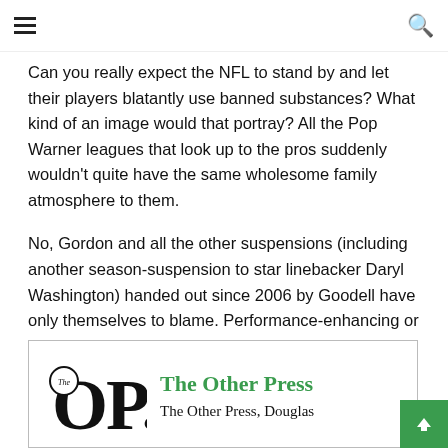Can you really expect the NFL to stand by and let their players blatantly use banned substances? What kind of an image would that portray? All the Pop Warner leagues that look up to the pros suddenly wouldn't quite have the same wholesome family atmosphere to them.
No, Gordon and all the other suspensions (including another season-suspension to star linebacker Daryl Washington) handed out since 2006 by Goodell have only themselves to blame. Performance-enhancing or not, a drug is a drug; a rule is a rule; a suspension is some quality time to think about errors.
[Figure (logo): The Other Press logo — large bold 'The OP.' text with a small circle containing 'The']
The Other Press
The Other Press, Douglas